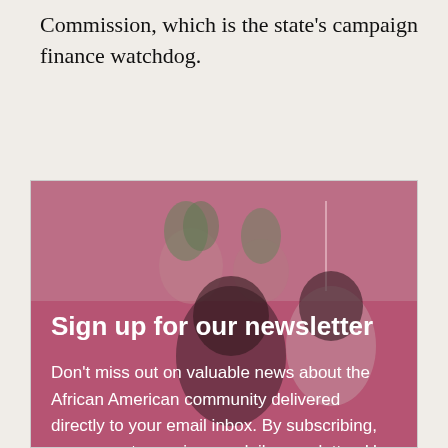Commission, which is the state's campaign finance watchdog.
[Figure (infographic): Newsletter sign-up advertisement with photo background showing a family. Contains bold headline 'Sign up for our newsletter' and body text about African American community news.]